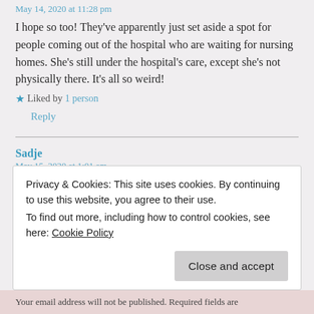May 14, 2020 at 11:28 pm
I hope so too! They've apparently just set aside a spot for people coming out of the hospital who are waiting for nursing homes. She's still under the hospital's care, except she's not physically there. It's all so weird!
★ Liked by 1 person
Reply
Sadje
May 15, 2020 at 1:01 am
Weird times, we are living in.
★ Liked by 1 person
Privacy & Cookies: This site uses cookies. By continuing to use this website, you agree to their use.
To find out more, including how to control cookies, see here: Cookie Policy
Close and accept
Your email address will not be published. Required fields are